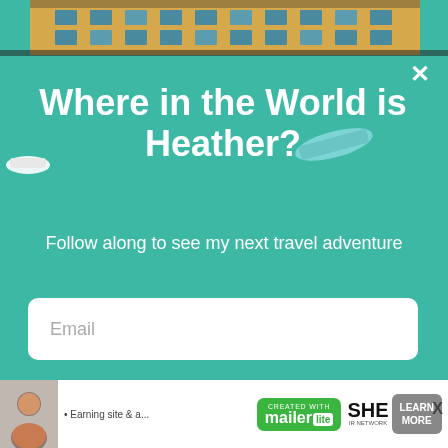[Figure (photo): Aerial view of teal/turquoise water with several boats and a dock, serving as modal background. A yellow hotel building is partially visible at the top.]
Where in the World is Heather?
Follow along to see my next travel adventure
Email
Yes, Please!
[Figure (screenshot): Bottom advertisement bar showing a woman photo, 'Created with mailer lite' green badge, 'SHE network' branding, and 'LEARN MORE' button.]
• Earning site & s... SHE LEARN MORE BECOME A MEMBER